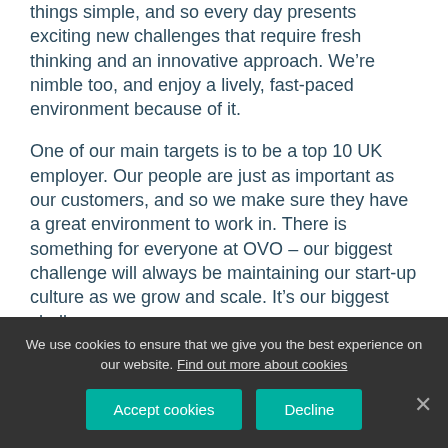things simple, and so every day presents exciting new challenges that require fresh thinking and an innovative approach. We’re nimble too, and enjoy a lively, fast-paced environment because of it.
One of our main targets is to be a top 10 UK employer. Our people are just as important as our customers, and so we make sure they have a great environment to work in. There is something for everyone at OVO – our biggest challenge will always be maintaining our start-up culture as we grow and scale. It’s our biggest challenge (we’ll hold tight to it...
We use cookies to ensure that we give you the best experience on our website. Find out more about cookies